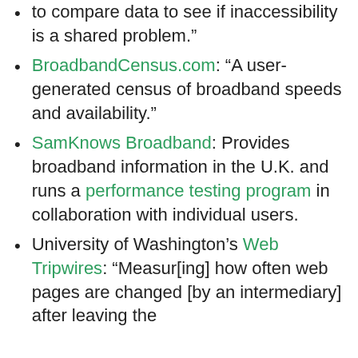to compare data to see if inaccessibility is a shared problem.”
BroadbandCensus.com: “A user-generated census of broadband speeds and availability.”
SamKnows Broadband: Provides broadband information in the U.K. and runs a performance testing program in collaboration with individual users.
University of Washington’s Web Tripwires: “Measur[ing] how often web pages are changed [by an intermediary] after leaving the server and before arriving in the